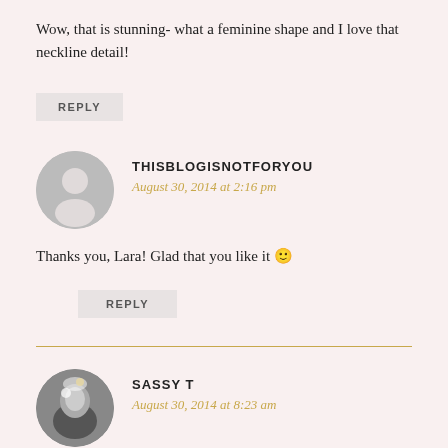Wow, that is stunning- what a feminine shape and I love that neckline detail!
REPLY
THISBLOGISNOTFORYOU
August 30, 2014 at 2:16 pm
Thanks you, Lara! Glad that you like it 🙂
REPLY
SASSY T
August 30, 2014 at 8:23 am